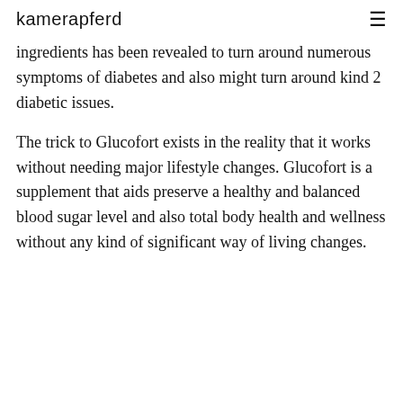kamerapferd
ingredients has been revealed to turn around numerous symptoms of diabetes and also might turn around kind 2 diabetic issues.
The trick to Glucofort exists in the reality that it works without needing major lifestyle changes. Glucofort is a supplement that aids preserve a healthy and balanced blood sugar level and also total body health and wellness without any kind of significant way of living changes.